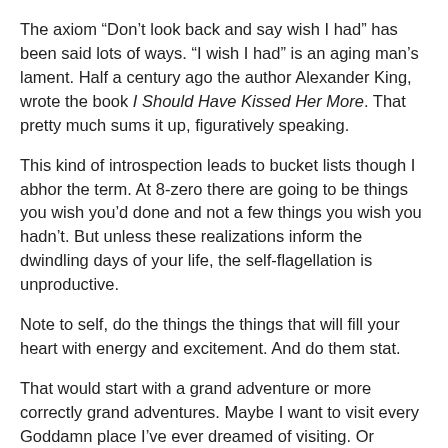The axiom “Don’t look back and say wish I had” has been said lots of ways. “I wish I had” is an aging man’s lament. Half a century ago the author Alexander King, wrote the book I Should Have Kissed Her More. That pretty much sums it up, figuratively speaking.
This kind of introspection leads to bucket lists though I abhor the term. At 8-zero there are going to be things you wish you’d done and not a few things you wish you hadn’t. But unless these realizations inform the dwindling days of your life, the self-flagellation is unproductive.
Note to self, do the things the things that will fill your heart with energy and excitement. And do them stat.
That would start with a grand adventure or more correctly grand adventures. Maybe I want to visit every Goddamn place I’ve ever dreamed of visiting. Or maybe I want to pick a place south of the equator, buy a one-way ticket to, say Buenos Aires, and figure it out from there. Or fly to, say Paris, buy an unlimited Eurail pass and follow my whims till I’ve had my fill.